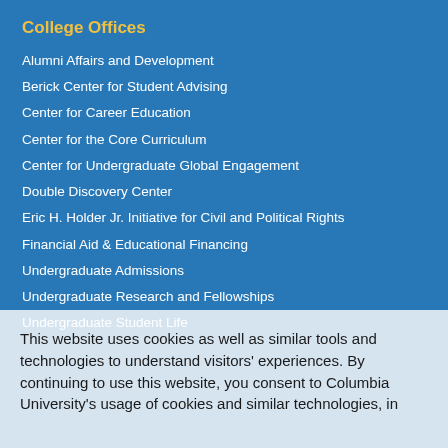College Offices
Alumni Affairs and Development
Berick Center for Student Advising
Center for Career Education
Center for the Core Curriculum
Center for Undergraduate Global Engagement
Double Discovery Center
Eric H. Holder Jr. Initiative for Civil and Political Rights
Financial Aid & Educational Financing
Undergraduate Admissions
Undergraduate Research and Fellowships
Undergraduate Student Life
This website uses cookies as well as similar tools and technologies to understand visitors' experiences. By continuing to use this website, you consent to Columbia University's usage of cookies and similar technologies, in